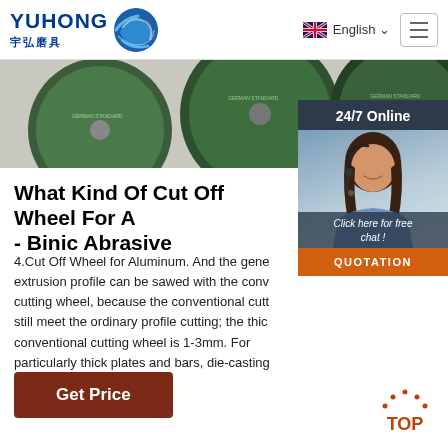YUHONG 宇弘磨具 | English
[Figure (photo): Green cut-off / grinding wheels (abrasive discs) displayed in a row against a white background]
[Figure (photo): 24/7 Online customer service widget showing a smiling female agent wearing a headset, with a 'Click here for free chat!' message and QUOTATION button]
What Kind Of Cut Off Wheel For A - Binic Abrasive
4.Cut Off Wheel for Aluminum. And the gene extrusion profile can be sawed with the conv cutting wheel, because the conventional cutt still meet the ordinary profile cutting; the thic conventional cutting wheel is 1-3mm. For particularly thick plates and bars, die-casting parts of automobile parts...
[Figure (other): TOP back-to-top button with orange arrow icon and orange text 'TOP']
Get Price